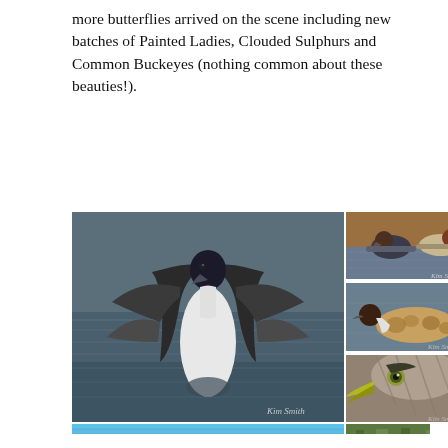more butterflies arrived on the scene including new batches of Painted Ladies, Clouded Sulphurs and Common Buckeyes (nothing common about these beauties!).
[Figure (photo): Collage of bird photographs: large left image of a bird (likely Northern Pintail duck) standing in water with wings spread, watermark 'Kim Smith'; top right: two ducks swimming in golden-lit water, watermark 'Kim Smith'; middle right: a duck swimming showing speckled brown plumage; bottom right: close-up of a heron's head with yellow-green beak and eye. Bottom strip: partial view of blue water scene (left) and green foliage scene (right).]